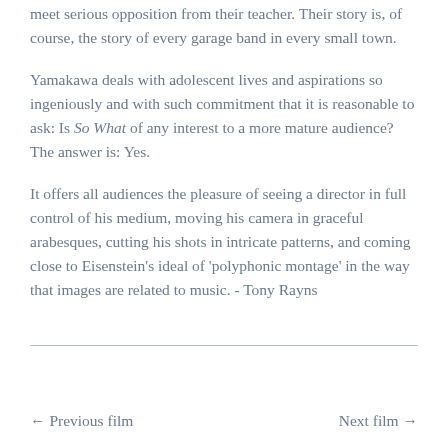meet serious opposition from their teacher. Their story is, of course, the story of every garage band in every small town.
Yamakawa deals with adolescent lives and aspirations so ingeniously and with such commitment that it is reasonable to ask: Is So What of any interest to a more mature audience? The answer is: Yes.
It offers all audiences the pleasure of seeing a director in full control of his medium, moving his camera in graceful arabesques, cutting his shots in intricate patterns, and coming close to Eisenstein's ideal of 'polyphonic montage' in the way that images are related to music. - Tony Rayns
← Previous film    Next film →